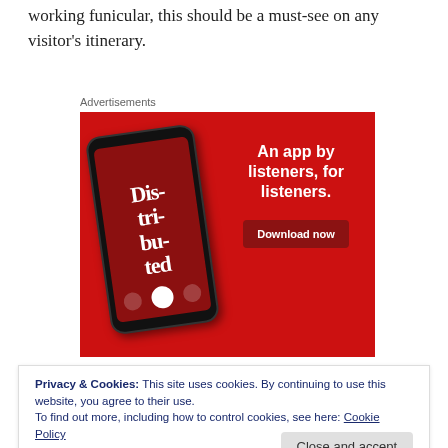working funicular, this should be a must-see on any visitor's itinerary.
Advertisements
[Figure (illustration): Advertisement banner with red background showing a smartphone displaying a podcast app called 'Distributed', with text 'An app by listeners, for listeners.' and a 'Download now' button.]
Privacy & Cookies: This site uses cookies. By continuing to use this website, you agree to their use.
To find out more, including how to control cookies, see here: Cookie Policy
many still with soaring towers – is a worthy day trip. here